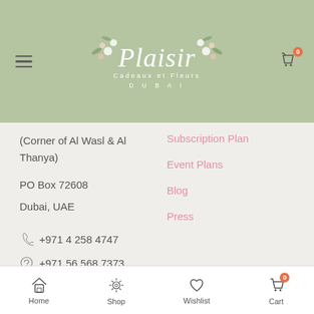[Figure (logo): Plaisir Cadeaux et Fleurs Dubai logo with floral decoration on sage green background]
(Corner of Al Wasl & Al Thanya)
PO Box 72608
Dubai, UAE
Subscription Plan
Event Plans
Blog
Press
+971 4 258 4747
+971 56 568 7373
Home  Shop  Wishlist  Cart